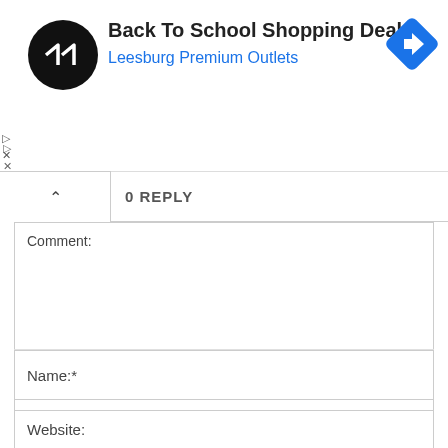[Figure (screenshot): Ad banner for Back To School Shopping Deals at Leesburg Premium Outlets, with circular dark logo on left and blue navigation diamond icon on right]
▷
×
^ 0 REPLY
Comment:
Name:*
Email:*
Website: